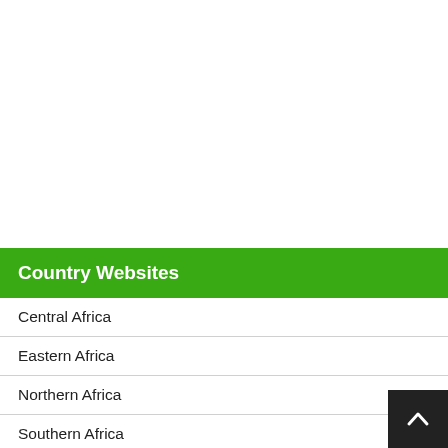Country Websites
Central Africa
Eastern Africa
Northern Africa
Southern Africa
Western Africa